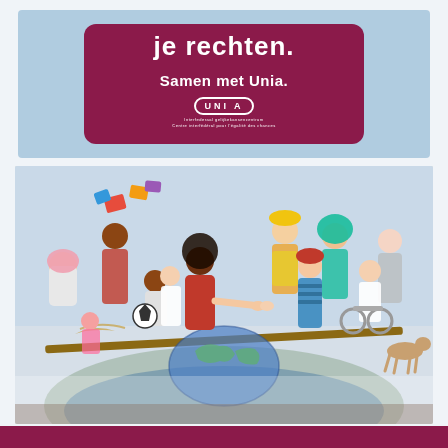[Figure (photo): Unia advertisement billboard on light blue background showing maroon/dark red sign with partial text 'je rechten.' at top (cut off), 'Samen met Unia.' tagline, and Unia logo with circular lettering]
[Figure (photo): Unia campaign photo showing a diverse group of people on a seesaw balanced on a globe. On the left: women with headscarves, children, a girl in red dress reaching out to shake hands across the divide. On the right: a construction worker in yellow helmet, a woman in teal hijab, elderly man, boy in red cap, man in wheelchair, and a dog. The scene represents diversity and equality.]
[Figure (photo): Partial view of another Unia advertisement at the bottom of the page, showing the maroon/dark red color strip.]